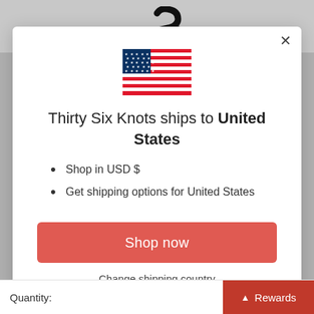[Figure (screenshot): Modal popup dialog showing USA flag, shipping destination text, bullet list, Shop now button, and Change shipping country link over a gray background with a product page below]
Thirty Six Knots ships to United States
Shop in USD $
Get shipping options for United States
Shop now
Change shipping country
Quantity:
Rewards